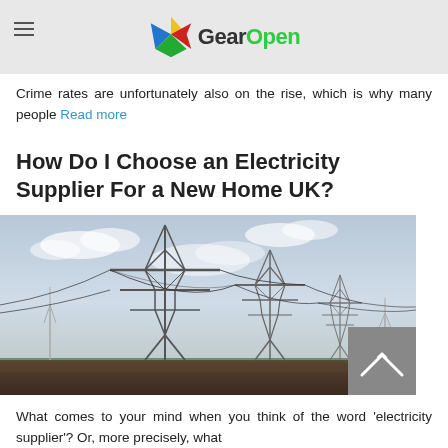GearOpen
Crime rates are unfortunately also on the rise, which is why many people Read more
How Do I Choose an Electricity Supplier For a New Home UK?
[Figure (photo): Photograph of electricity transmission pylons stretching across a flat agricultural landscape under a partly cloudy sky, with wind turbines visible in the background.]
What comes to your mind when you think of the word 'electricity supplier'? Or, more precisely, what